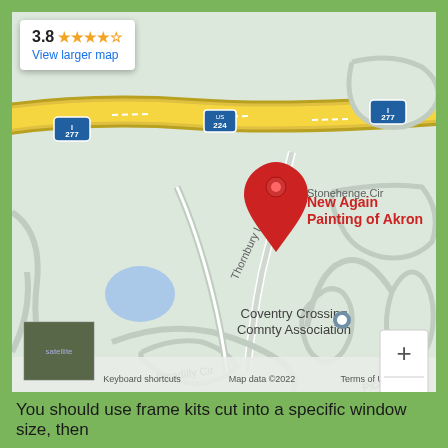[Figure (map): Google Maps screenshot showing the location of New Again Painting of Akron near Coventry Crossing area. Roads shown include Route 224, Route 277, Thornbury Ln, Stonehenge Cir, Picadilly Cir, Westminster Cir, Canterbury Cir. A red map pin marks New Again Painting of Akron. A grey pin marks Coventry Crossing Comnty Association. Rating shown: 3.8 stars. Map data ©2022 Google.]
You should use frame kits cut into a specific window size, then